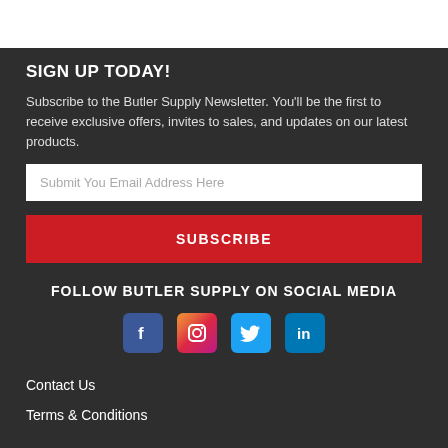SIGN UP TODAY!
Subscribe to the Butler Supply Newsletter. You'll be the first to receive exclusive offers, invites to sales, and updates on our latest products.
Submit You Email Address Here
SUBSCRIBE
FOLLOW BUTLER SUPPLY ON SOCIAL MEDIA
[Figure (illustration): Social media icons: Facebook, Instagram, Twitter, LinkedIn]
Contact Us
Terms & Conditions